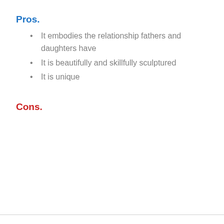Pros.
It embodies the relationship fathers and daughters have
It is beautifully and skillfully sculptured
It is unique
Cons.